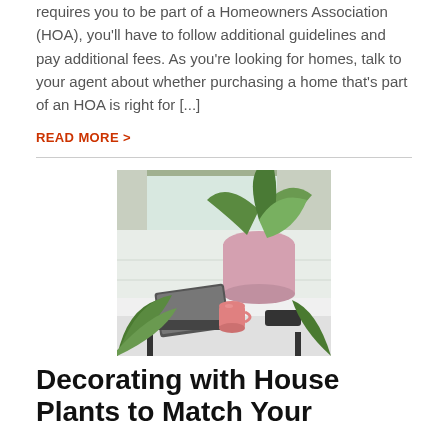requires you to be part of a Homeowners Association (HOA), you'll have to follow additional guidelines and pay additional fees. As you're looking for homes, talk to your agent about whether purchasing a home that's part of an HOA is right for [...]
READ MORE >
[Figure (photo): A white desk with a laptop, pink mug, and phone on it, surrounded by lush green houseplants in pink pot near a window]
Decorating with House Plants to Match Your